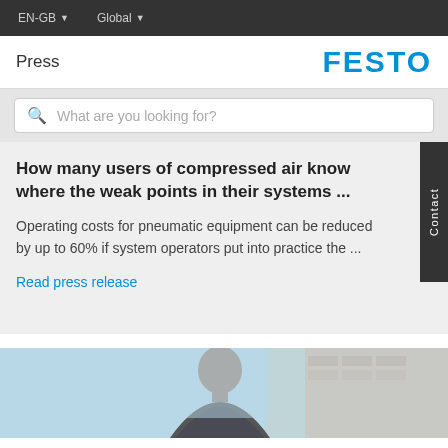EN-GB  Global
Press
FESTO
What are you looking for?
How many users of compressed air know where the weak points in their systems ...
Operating costs for pneumatic equipment can be reduced by up to 60% if system operators put into practice the ...
Read press release
[Figure (photo): Partial photo of a person (man) in a light blue and grey outdoor/industrial setting, visible from approximately mid-torso up]